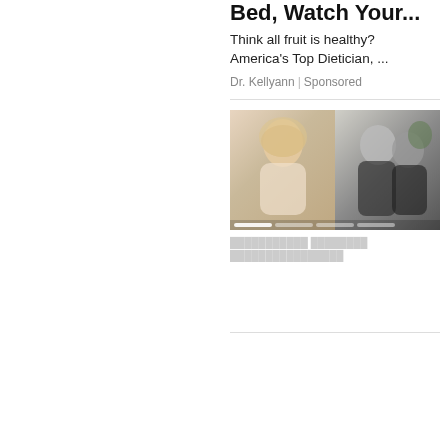Bed, Watch Your...
Think all fruit is healthy? America's Top Dietician, ...
Dr. Kellyann | Sponsored
[Figure (photo): Two-panel photo strip: left panel shows a smiling blonde woman, right panel shows two people close together looking at something]
(blurred/placeholder text below image)